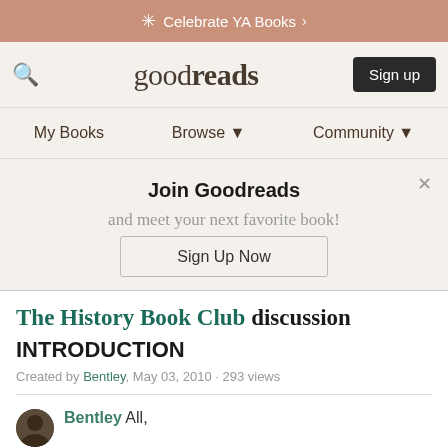Celebrate YA Books >
[Figure (screenshot): Goodreads navigation bar with search icon, logo, and Sign up button]
My Books  Browse ▼  Community ▼
Join Goodreads
and meet your next favorite book!
Sign Up Now
The History Book Club discussion
INTRODUCTION
Created by Bentley, May 03, 2010 · 293 views
Bentley All,